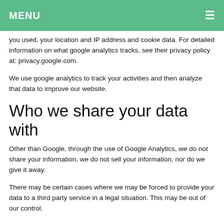MENU
you used, your location and IP address and cookie data. For detailed information on what google analytics tracks, see their privacy policy at: privacy.google.com.
We use google analytics to track your activities and then analyze that data to improve our website.
Who we share your data with
Other than Google, through the use of Google Analytics, we do not share your information, we do not sell your information, nor do we give it away.
There may be certain cases where we may be forced to provide your data to a third party service in a legal situation. This may be out of our control.
How long we retain your data